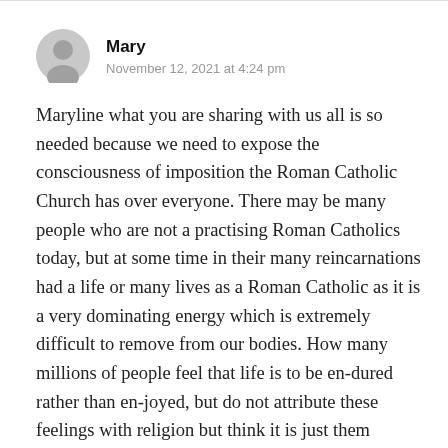[Figure (illustration): Generic user avatar icon — grey silhouette of a person on a light grey circular background]
Mary
November 12, 2021 at 4:24 pm
Maryline what you are sharing with us all is so needed because we need to expose the consciousness of imposition the Roman Catholic Church has over everyone. There may be many people who are not a practising Roman Catholics today, but at some time in their many reincarnations had a life or many lives as a Roman Catholic as it is a very dominating energy which is extremely difficult to remove from our bodies. How many millions of people feel that life is to be en-dured rather than en-joyed, but do not attribute these feelings with religion but think it is just them struggling with